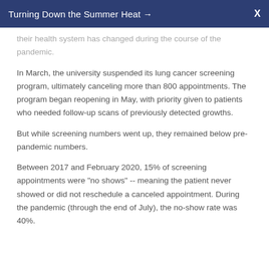Turning Down the Summer Heat → X
their health system has changed during the course of the pandemic.
In March, the university suspended its lung cancer screening program, ultimately canceling more than 800 appointments. The program began reopening in May, with priority given to patients who needed follow-up scans of previously detected growths.
But while screening numbers went up, they remained below pre-pandemic numbers.
Between 2017 and February 2020, 15% of screening appointments were "no shows" -- meaning the patient never showed or did not reschedule a canceled appointment. During the pandemic (through the end of July), the no-show rate was 40%.